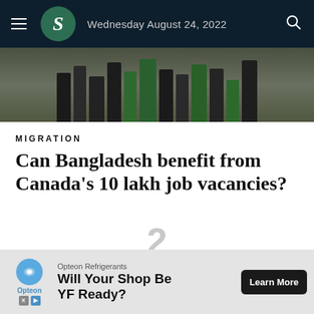Wednesday August 24, 2022
[Figure (photo): Photograph showing people from the waist down, some wearing green clothing, standing on a tiled floor]
MIGRATION
Can Bangladesh benefit from Canada's 10 lakh job vacancies?
2
[Figure (photo): Broken image thumbnail for related article]
Russia now offers Bangladesh finished oil
[Figure (other): Advertisement banner: Opteon Refrigerants – Will Your Shop Be YF Ready? with Learn More button]